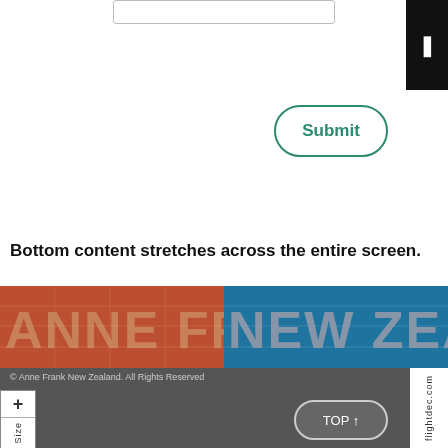[Figure (screenshot): Input text bar at top center of page]
[Figure (screenshot): Submit button with rounded green border]
Bottom content stretches across the entire screen.
[Figure (photo): Anne Frank New Zealand banner image with red and blue typography]
© Anne Frank New Zealand. All Rights Reserved
[Figure (screenshot): Text Size control with plus and minus buttons on left side]
[Figure (screenshot): TOP button in footer area]
[Figure (logo): flightdec.com badge on right side of footer]